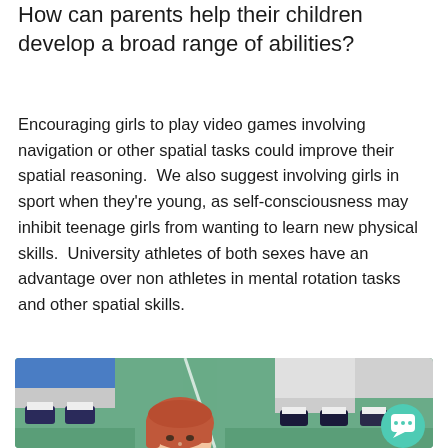How can parents help their children develop a broad range of abilities?
Encouraging girls to play video games involving navigation or other spatial tasks could improve their spatial reasoning.  We also suggest involving girls in sport when they're young, as self-consciousness may inhibit teenage girls from wanting to learn new physical skills.  University athletes of both sexes have an advantage over non athletes in mental rotation tasks and other spatial skills.
[Figure (photo): Photo of children sitting on a gym floor, with a young girl with red hair in the foreground looking up at the camera. A teal chat bubble icon overlays the bottom-right corner of the image.]